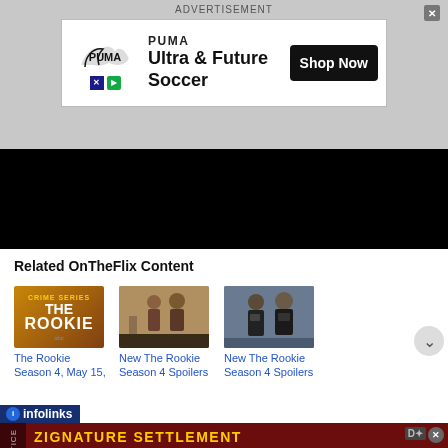[Figure (screenshot): PUMA Ultra & Future Soccer advertisement banner with Shop Now button]
[Figure (screenshot): Black video player area]
Related OnTheFlix Content
[Figure (photo): The Rookie TV show poster]
The Rookie Season 4, May 15,
[Figure (photo): New The Rookie Season 4 Spoilers scene]
New The Rookie Season 4 Spoilers
[Figure (photo): New The Rookie Season 4 Spoilers police scene]
New The Rookie Season 4 Spoilers
[Figure (screenshot): ZIGNATURE SETTLEMENT legal notice banner - If you purchased certain Zignature pet food products labeled as grain free or chicken free, you may be eligible for benefits]